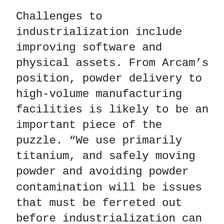Challenges to industrialization include improving software and physical assets. From Arcam’s position, powder delivery to high-volume manufacturing facilities is likely to be an important piece of the puzzle. “We use primarily titanium, and safely moving powder and avoiding powder contamination will be issues that must be ferreted out before industrialization can proceed,” Bradshaw says.
“It’s not going to be an EOS, Concept Laser, or Arcam solution necessarily,” he continues. All the big system manufacturers face similar problems, and Bradshaw believes that solutions will come through collaboration with customers and even working with competitors. However it evolves, the future of electron beam melting, and additive metal